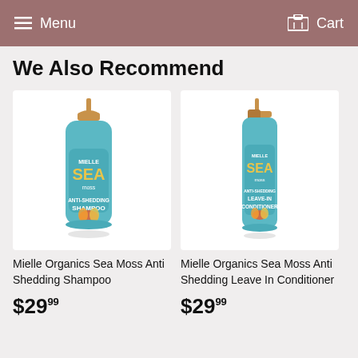Menu  Cart
We Also Recommend
[Figure (photo): Mielle Organics Sea Moss Anti Shedding Shampoo bottle (teal pump bottle with gold pump)]
Mielle Organics Sea Moss Anti Shedding Shampoo
$29.99
[Figure (photo): Mielle Organics Sea Moss Anti Shedding Leave In Conditioner bottle (teal spray bottle with gold cap)]
Mielle Organics Sea Moss Anti Shedding Leave In Conditioner
$29.99